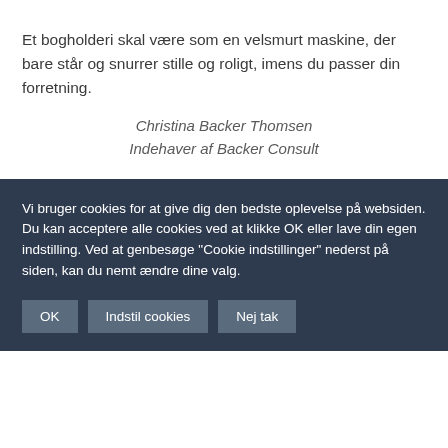Et bogholderi skal være som en velsmurt maskine, der bare står og snurrer stille og roligt, imens du passer din forretning.
Christina Backer Thomsen
Indehaver af Backer Consult
Vi bruger cookies for at give dig den bedste oplevelse på websiden. Du kan acceptere alle cookies ved at klikke OK eller lave din egen indstilling. Ved at genbesøge "Cookie indstillinger" nederst på siden, kan du nemt ændre dine valg.